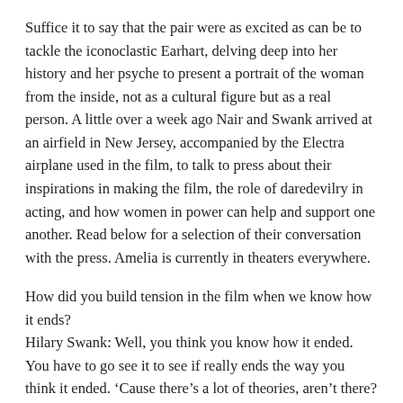Suffice it to say that the pair were as excited as can be to tackle the iconoclastic Earhart, delving deep into her history and her psyche to present a portrait of the woman from the inside, not as a cultural figure but as a real person. A little over a week ago Nair and Swank arrived at an airfield in New Jersey, accompanied by the Electra airplane used in the film, to talk to press about their inspirations in making the film, the role of daredevilry in acting, and how women in power can help and support one another. Read below for a selection of their conversation with the press. Amelia is currently in theaters everywhere.
How did you build tension in the film when we know how it ends? Hilary Swank: Well, you think you know how it ended. You have to go see it to see if really ends the way you think it ended. 'Cause there's a lot of theories, aren't there? Mira Nair: Truth is much stranger than fiction and, often, much more powerful. And– the ending, we have the records of the last transmissions. And nothing could be more dramatic or heartbreaking that that. Besides the fact that we know there is a mystery. I very